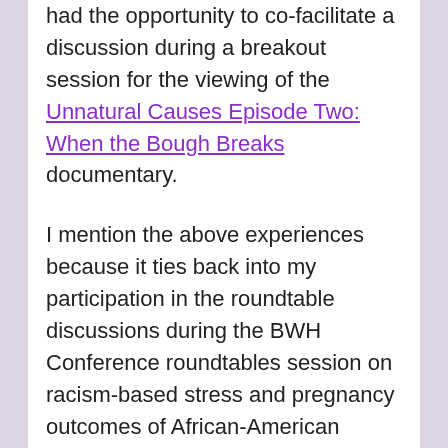had the opportunity to co-facilitate a discussion during a breakout session for the viewing of the Unnatural Causes Episode Two: When the Bough Breaks documentary.
I mention the above experiences because it ties back into my participation in the roundtable discussions during the BWH Conference roundtables session on racism-based stress and pregnancy outcomes of African-American women. During this session, the presenters also showed a video clip from the Unnatural Causes documentary and led a discussion as well. The most poignant component of